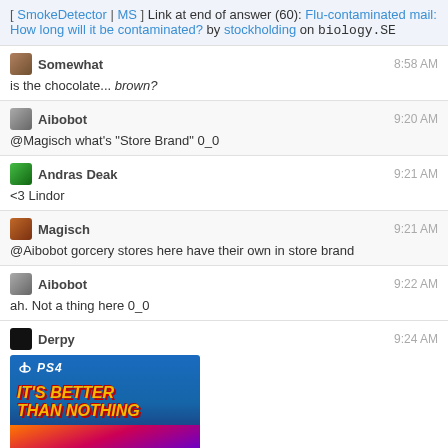[ SmokeDetector | MS ] Link at end of answer (60): Flu-contaminated mail: How long will it be contaminated? by stockholding on biology.SE
Somewhat 8:58 AM
is the chocolate... brown?
Aibobot 9:20 AM
@Magisch what's "Store Brand" 0_0
Andras Deak 9:21 AM
<3 Lindor
Magisch 9:21 AM
@Aibobot gorcery stores here have their own in store brand
Aibobot 9:22 AM
ah. Not a thing here 0_0
Derpy 9:24 AM
[Figure (screenshot): PS4 game case cover image with blue background and orange/yellow title text reading 'IT'S BETTER THAN NOTHING' with colorful game art characters below]